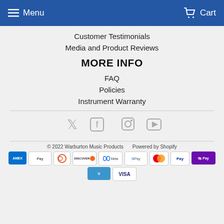Menu  Cart
Customer Testimonials
Media and Product Reviews
MORE INFO
FAQ
Policies
Instrument Warranty
[Figure (infographic): Social media icons: Twitter, Facebook, Instagram, YouTube]
© 2022 Warburton Music Products    Powered by Shopify
[Figure (infographic): Payment method badges: Amex, Apple Pay, Diners, Discover, Meta, Google Pay, Mastercard, PayPal, Shop Pay, Venmo, Visa]